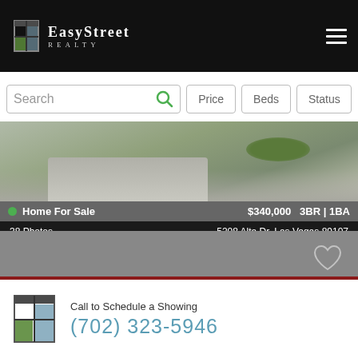EasyStreet Realty
Search | Price | Beds | Status
[Figure (photo): Exterior photo of home with driveway and landscaping, showing listing overlay: Home For Sale, $340,000, 3BR | 1BA, 38 Photos, 5208 Alta Dr, Las Vegas 89107]
[Figure (photo): Grey placeholder listing card with heart/favorite icon]
Call to Schedule a Showing
(702) 323-5946